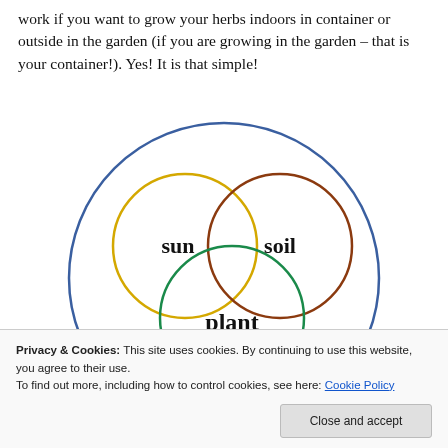work if you want to grow your herbs indoors in container or outside in the garden (if you are growing in the garden – that is your container!).  Yes! It is that simple!
[Figure (infographic): Venn diagram showing four overlapping circles labeled 'sun' (yellow), 'soil' (brown), 'plant' (green), and a partially visible black circle and light blue circle at the bottom, all contained within a large blue circle.]
Privacy & Cookies: This site uses cookies. By continuing to use this website, you agree to their use.
To find out more, including how to control cookies, see here: Cookie Policy
Close and accept